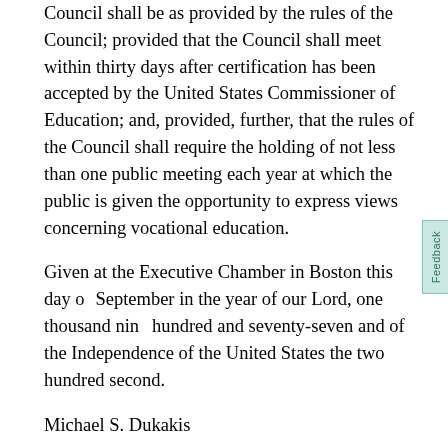Council shall be as provided by the rules of the Council; provided that the Council shall meet within thirty days after certification has been accepted by the United States Commissioner of Education; and, provided, further, that the rules of the Council shall require the holding of not less than one public meeting each year at which the public is given the opportunity to express views concerning vocational education.
Given at the Executive Chamber in Boston this day of September in the year of our Lord, one thousand nine hundred and seventy-seven and of the Independence of the United States the two hundred second.
Michael S. Dukakis
Governor
Commonwealth of Massachusetts